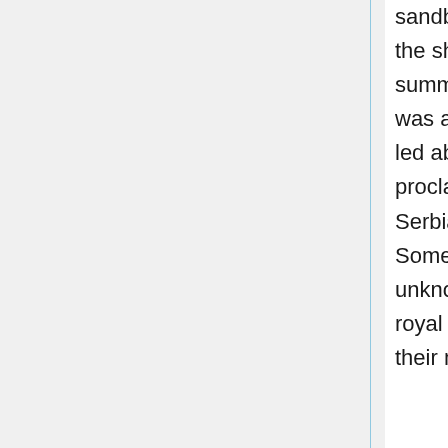sandbank still left by the shrunken summer stream. He was arrested and led absent proclaiming ◆I am a Serbian hero!◆ Somewhere else, unknown to the royal couple and their minders,